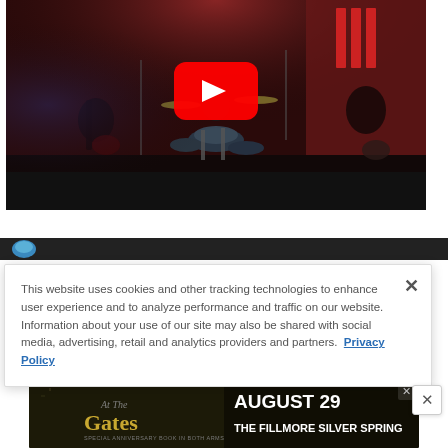[Figure (screenshot): YouTube video thumbnail showing a live band performance on stage with red lighting, drum kit in center, guitarists on sides, YouTube play button overlay, black letterbox bar at bottom]
[Figure (screenshot): Partial second video thumbnail strip with dark background and circular blue icon]
This website uses cookies and other tracking technologies to enhance user experience and to analyze performance and traffic on our website. Information about your use of our site may also be shared with social media, advertising, retail and analytics providers and partners.  Privacy Policy
[Figure (screenshot): Advertisement banner for 'At The Gates' concert on August 29 at The Fillmore Silver Spring]